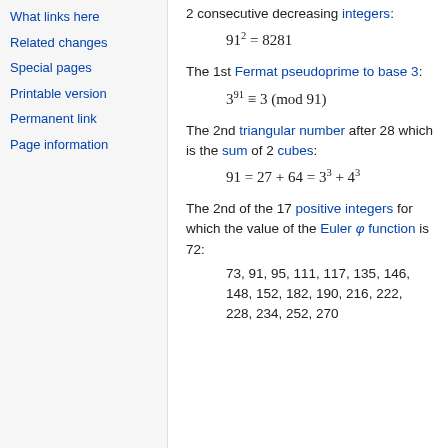What links here
Related changes
Special pages
Printable version
Permanent link
Page information
2 consecutive decreasing integers:
The 1st Fermat pseudoprime to base 3:
The 2nd triangular number after 28 which is the sum of 2 cubes:
The 2nd of the 17 positive integers for which the value of the Euler φ function is 72:
73, 91, 95, 111, 117, 135, 146, 148, 152, 182, 190, 216, 222, 228, 234, 252, 270